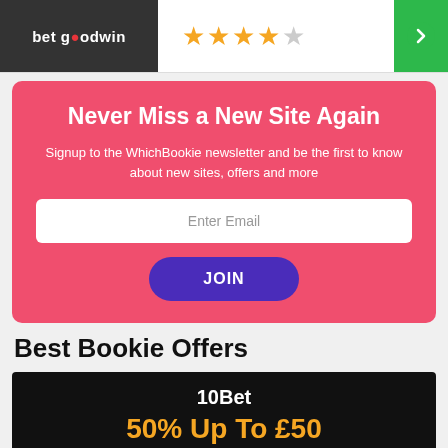[Figure (logo): Betgoodwin logo on dark background with star rating and green arrow button]
Never Miss a New Site Again
Signup to the WhichBookie newsletter and be the first to know about new sites, offers and more
Enter Email
JOIN
Best Bookie Offers
10Bet
50% Up To £50